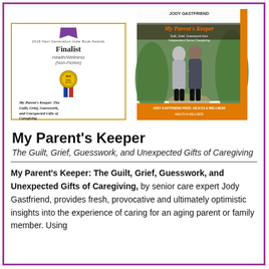[Figure (illustration): Book award certificate (2018 Next Generation Indie Book Awards Finalist, Health/Wellness Non-Fiction) with gold medal and red/blue ribbon, alongside book cover for 'My Parent's Keeper' by Jody Gastfriend showing two elderly people walking away on a path]
My Parent's Keeper
The Guilt, Grief, Guesswork, and Unexpected Gifts of Caregiving
My Parent's Keeper: The Guilt, Grief, Guesswork, and Unexpected Gifts of Caregiving, by senior care expert Jody Gastfriend, provides fresh, provocative and ultimately optimistic insights into the experience of caring for an aging parent or family member. Using